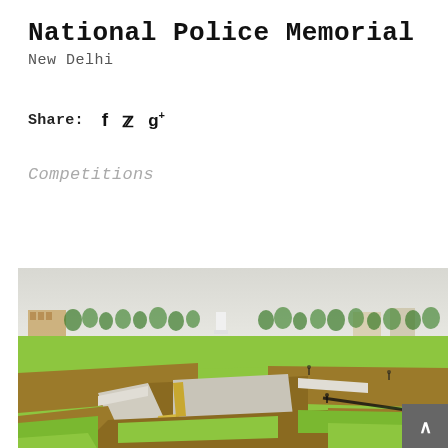National Police Memorial
New Delhi
Share:
Competitions
[Figure (illustration): Aerial 3D rendering of the National Police Memorial architectural design in New Delhi, showing green lawns, recessed geometric structures, pathways, trees, and surrounding buildings in a bird's-eye perspective render.]